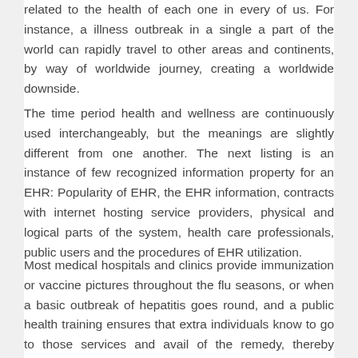related to the health of each one in every of us. For instance, a illness outbreak in a single a part of the world can rapidly travel to other areas and continents, by way of worldwide journey, creating a worldwide downside.
The time period health and wellness are continuously used interchangeably, but the meanings are slightly different from one another. The next listing is an instance of few recognized information property for an EHR: Popularity of EHR, the EHR information, contracts with internet hosting service providers, physical and logical parts of the system, health care professionals, public users and the procedures of EHR utilization.
Most medical hospitals and clinics provide immunization or vaccine pictures throughout the flu seasons, or when a basic outbreak of hepatitis goes round, and a public health training ensures that extra individuals know to go to those services and avail of the remedy, thereby lessening the quantity of ailing folks.